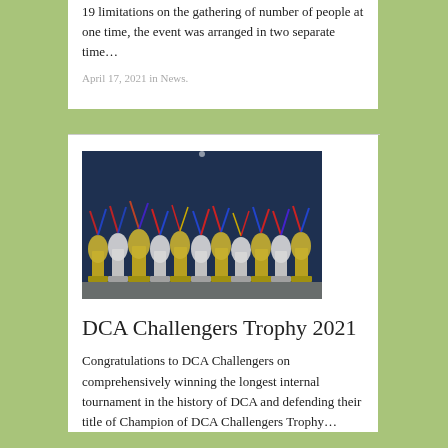19 limitations on the gathering of number of people at one time, the event was arranged in two separate time…
April 17, 2021 in News.
[Figure (photo): Photo of multiple trophies with ribbons lined up on a table at a sporting event]
DCA Challengers Trophy 2021
Congratulations to DCA Challengers on comprehensively winning the longest internal tournament in the history of DCA and defending their title of Champion of DCA Challengers Trophy…